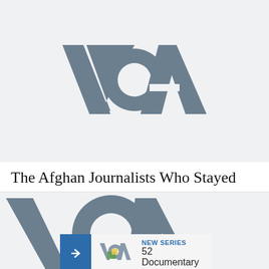[Figure (logo): VOA (Voice of America) logo in gray on light gray background]
The Afghan Journalists Who Stayed
[Figure (logo): VOA logo partially visible in gray on light gray background, with an overlay card showing a blue arrow box, small VOA logo image, 'NEW SERIES' in blue and '52 Documentary' text]